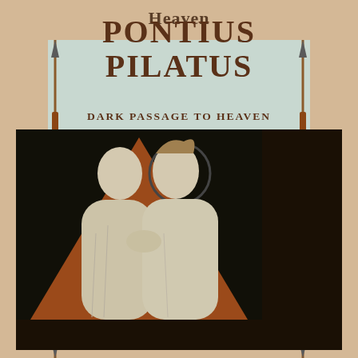Heaven
[Figure (illustration): Book cover for 'Pontius Pilatus: Dark Passage to Heaven'. Light blue-green cover with two crossed spears on either side. Large title text 'PONTIUS PILATUS' and subtitle 'DARK PASSAGE TO HEAVEN'. Below the text is a black and white photograph of a stone sculpture showing two robed figures — one bald man (Pilate) and one with a crown of thorns and halo (Christ) — set against a triangular terracotta-colored background.]